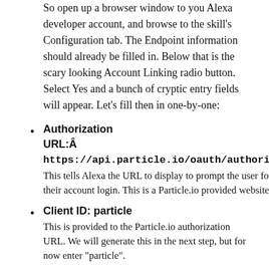So open up a browser window to you Alexa developer account, and browse to the skill's Configuration tab. The Endpoint information should already be filled in. Below that is the scary looking Account Linking radio button. Select Yes and a bunch of cryptic entry fields will appear. Let's fill then in one-by-one:
Authorization URL:Â https://api.particle.io/oauth/authorize
This tells Alexa the URL to display to prompt the user for their account login. This is a Particle.io provided website.
Client ID: particle
This is provided to the Particle.io authorization URL. We will generate this in the next step, but for now enter “particle”.
Domain List (optional):
Leave blank. It isn't needed.
Scope: none
Click on the Add domain button and add the scope 'none'